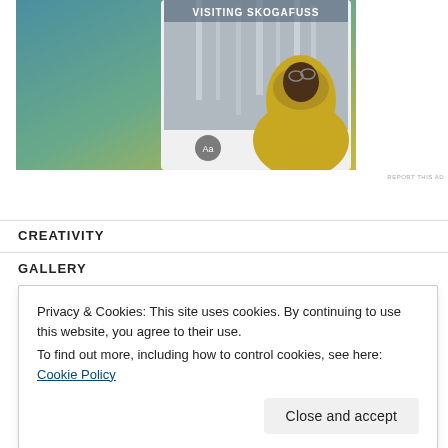[Figure (photo): Advertisement image showing a person in a yellow jacket looking up at Skogafoss waterfall, with text 'VISITING SKOGAFUSS' at top. Blue-green gradient background on the left side. A small circular icon with 'Aa' is visible on the image.]
REPORT THIS AD
CREATIVITY
GALLERY
L
C
Privacy & Cookies: This site uses cookies. By continuing to use this website, you agree to their use.
To find out more, including how to control cookies, see here: Cookie Policy
Close and accept